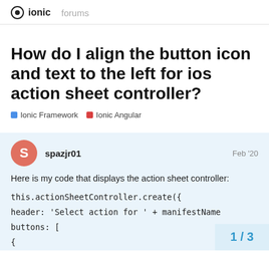ionic  forums
How do I align the button icon and text to the left for ios action sheet controller?
Ionic Framework  Ionic Angular
spazjr01  Feb '20
Here is my code that displays the action sheet controller:
this.actionSheetController.create({
header: 'Select action for ' + manifestName
buttons: [
{